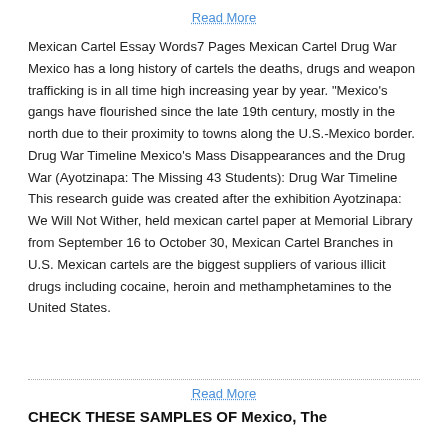Read More
Mexican Cartel Essay Words7 Pages Mexican Cartel Drug War Mexico has a long history of cartels the deaths, drugs and weapon trafficking is in all time high increasing year by year. “Mexico’s gangs have flourished since the late 19th century, mostly in the north due to their proximity to towns along the U.S.-Mexico border. Drug War Timeline Mexico’s Mass Disappearances and the Drug War (Ayotzinapa: The Missing 43 Students): Drug War Timeline This research guide was created after the exhibition Ayotzinapa: We Will Not Wither, held mexican cartel paper at Memorial Library from September 16 to October 30, Mexican Cartel Branches in U.S. Mexican cartels are the biggest suppliers of various illicit drugs including cocaine, heroin and methamphetamines to the United States.
Read More
CHECK THESE SAMPLES OF Mexico, The